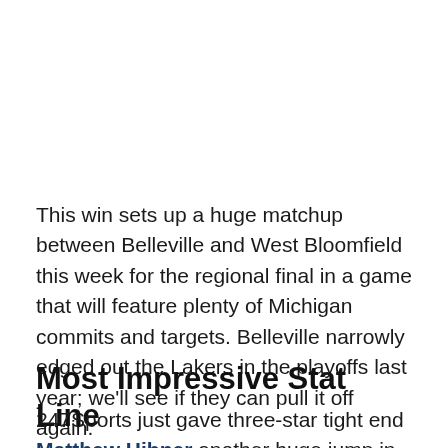This win sets up a huge matchup between Belleville and West Bloomfield this week for the regional final in a game that will feature plenty of Michigan commits and targets. Belleville narrowly edged out the Lakers in the playoffs last year; we'll see if they can pull it off again.
Most Impressive Stat Line
247Sports just gave three-star tight end Matthew Hibner another huge jump in their rankings last Friday